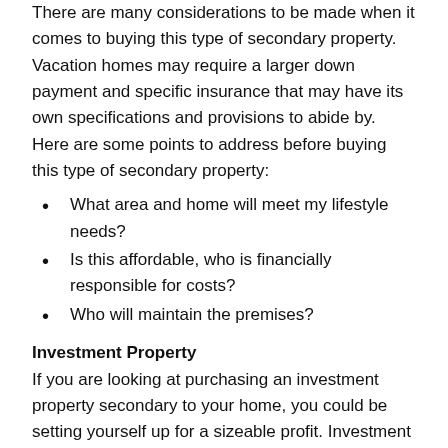There are many considerations to be made when it comes to buying this type of secondary property. Vacation homes may require a larger down payment and specific insurance that may have its own specifications and provisions to abide by. Here are some points to address before buying this type of secondary property:
What area and home will meet my lifestyle needs?
Is this affordable, who is financially responsible for costs?
Who will maintain the premises?
Investment Property
If you are looking at purchasing an investment property secondary to your home, you could be setting yourself up for a sizeable profit. Investment properties are a great first step towards finding financial freedom through real estate. There are a few different ways to manage an investment property purchase. Some choose to buy a home for less and flip it to